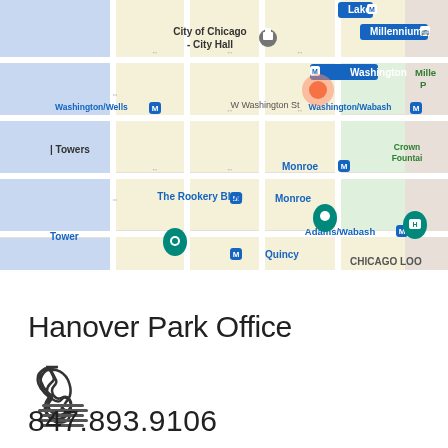[Figure (map): Google Maps screenshot showing downtown Chicago area with streets including W Washington St, Washington/Wells, Washington/Wabash, Monroe, Adams/Wabash, Quincy stations (M), City of Chicago City Hall, The Rookery Bldg, Millennium, Crown Fountain, Chicago Loop area visible. Blue, teal and yellow street/block colors.]
Hanover Park Office
[Figure (other): TTY/telephone device icon - a telephone handset above horizontal lines representing a teletype keyboard]
847.893.9106